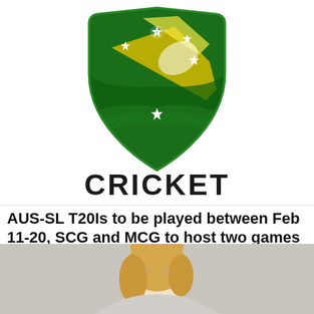[Figure (logo): Cricket Australia shield logo — green shield with Southern Cross stars and yellow/gold wattle spray, with 'CRICKET' text below in bold black letters]
AUS-SL T20Is to be played between Feb 11-20, SCG and MCG to host two games each
Cricket Australia on Thursday confirmed the schedule and venues for the upcoming T20I series between Australia and …
Sri Lankan News
[Figure (photo): Partial photo of a blonde woman from shoulders up against a grey background, cropped at bottom of page]